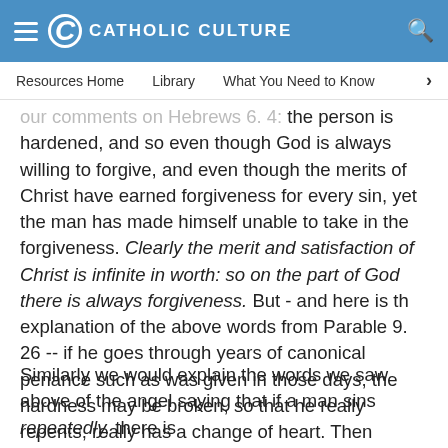CATHOLIC CULTURE
Resources Home   Library   What You Need to Know
our comments on Hebrews 6. 4: the person is hardened, and so even though God is always willing to forgive, and even though the merits of Christ have earned forgiveness for every sin, yet the man has made himself unable to take in the forgiveness. Clearly the merit and satisfaction of Christ is infinite in worth: so on the part of God there is always forgiveness. But - and here is th explanation of the above words from Parable 9. 26 -- if he goes through years of canonical penance such as was given in those days, the hardness may be broken, so that he really repents, really has a change of heart. Then forgiveness is possible.
Similarly we would explain the words we saw above of the angel saying that if a man sins repeatedly, there is